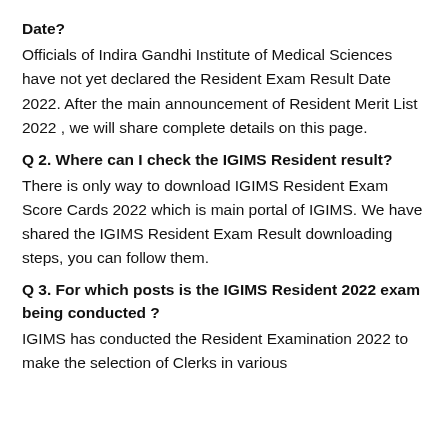Date?
Officials of Indira Gandhi Institute of Medical Sciences have not yet declared the Resident Exam Result Date 2022. After the main announcement of Resident Merit List 2022 , we will share complete details on this page.
Q 2. Where can I check the IGIMS Resident result?
There is only way to download IGIMS Resident Exam Score Cards 2022 which is main portal of IGIMS. We have shared the IGIMS Resident Exam Result downloading steps, you can follow them.
Q 3. For which posts is the IGIMS Resident 2022 exam being conducted ?
IGIMS has conducted the Resident Examination 2022 to make the selection of Clerks in various